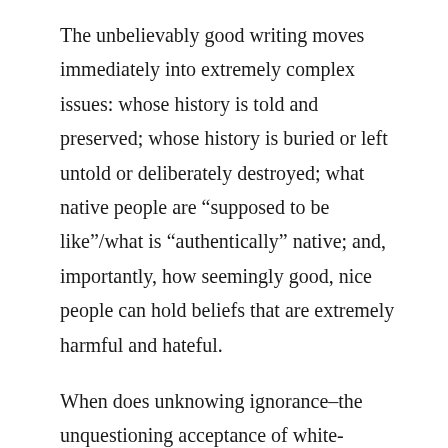The unbelievably good writing moves immediately into extremely complex issues: whose history is told and preserved; whose history is buried or left untold or deliberately destroyed; what native people are “supposed to be like”/what is “authentically” native; and, importantly, how seemingly good, nice people can hold beliefs that are extremely harmful and hateful.
When does unknowing ignorance–the unquestioning acceptance of white-washed histories–cross over into deliberate ignorance–refusal to listen to those who tell the truth? How are those who suffer at the hands of that ignorance made to feel like it’s “not nice” to challenge it? Why do we let myths about the past dictate our actions? The show artfully illustrates how short a walk it is from “good person who doesn’t know the whole